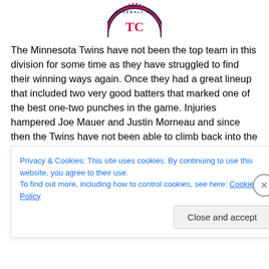[Figure (logo): Minnesota Twins Baseball Club logo (partial, top portion visible)]
The Minnesota Twins have not been the top team in this division for some time as they have struggled to find their winning ways again. Once they had a great lineup that included two very good batters that marked one of the best one-two punches in the game. Injuries hampered Joe Mauer and Justin Morneau and since then the Twins have not been able to climb back into the hunt. With Morneau long gone and Mauer now switched to first base the Twins
Privacy & Cookies: This site uses cookies. By continuing to use this website, you agree to their use.
To find out more, including how to control cookies, see here: Cookie Policy
Close and accept